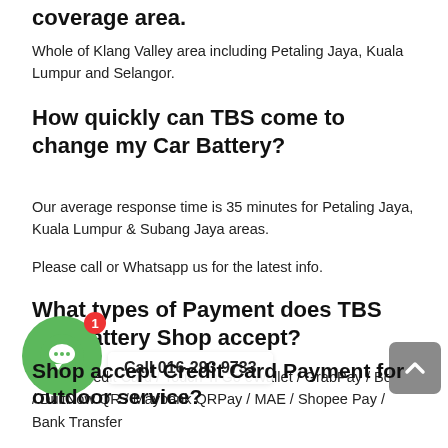coverage area.
Whole of Klang Valley area including Petaling Jaya, Kuala Lumpur and Selangor.
How quickly can TBS come to change my Car Battery?
Our average response time is 35 minutes for Petaling Jaya, Kuala Lumpur & Subang Jaya areas.
Please call or Whatsapp us for the latest info.
What types of Payment does TBS Car Battery Shop accept?
Cash / Credit Card / Touch 'n Go eWallet / GrabPay / Boost / DuitNow QR / Maybank QRPay / MAE / Shopee Pay / Bank Transfer
Does TBS Car Battery Shop accept Credit Card Payment for outdoor service?